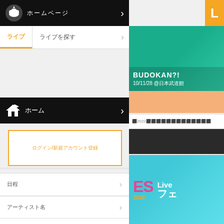[Figure (screenshot): Mobile app navigation menu screenshot showing a Japanese live music/events app (LiveFans) with black navigation bars, menu items in Japanese, an orange-bordered input box, LiveFans PUSH! menu item, and right side panel showing concert event images including a festival (ES 2022 Livefans フェ) and other promotional banners.]
ホーム
ライブ ライブを探す
ライブ
ログイン/新規アカウント登録
日程
アーティスト名
LiveFans PUSH!
アーティスト登録
チケット情報
その他